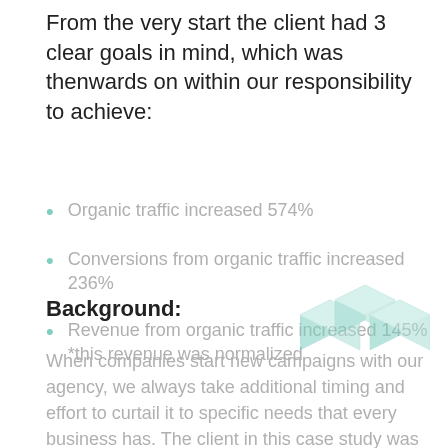From the very start the client had 3 clear goals in mind, which was thenwards on within our responsibility to achieve:
Organic traffic increased 574%
Conversions from organic traffic increased 236%
Revenue from organic traffic increased 145% *this revenue was normalized
[Figure (logo): Teal/mint colored 3D cube logo watermark]
Background:
When companies start new campaigns with our agency, we always take additional timing and effort to curtail it to specific needs that every business has. The client in this case study was hoping to increase